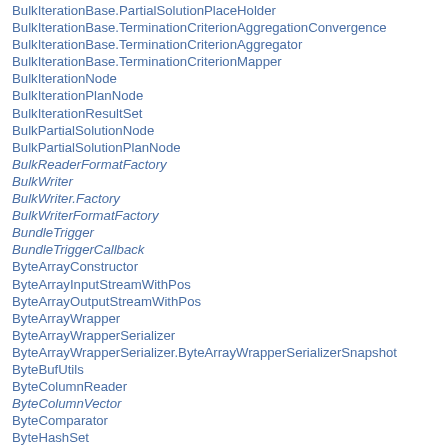BulkIterationBase.PartialSolutionPlaceHolder
BulkIterationBase.TerminationCriterionAggregationConvergence
BulkIterationBase.TerminationCriterionAggregator
BulkIterationBase.TerminationCriterionMapper
BulkIterationNode
BulkIterationPlanNode
BulkIterationResultSet
BulkPartialSolutionNode
BulkPartialSolutionPlanNode
BulkReaderFormatFactory
BulkWriter
BulkWriter.Factory
BulkWriterFormatFactory
BundleTrigger
BundleTriggerCallback
ByteArrayConstructor
ByteArrayInputStreamWithPos
ByteArrayOutputStreamWithPos
ByteArrayWrapper
ByteArrayWrapperSerializer
ByteArrayWrapperSerializer.ByteArrayWrapperSerializerSnapshot
ByteBufUtils
ByteColumnReader
ByteColumnVector
ByteComparator
ByteHashSet
ByteParser
BytePrimitiveArrayComparator